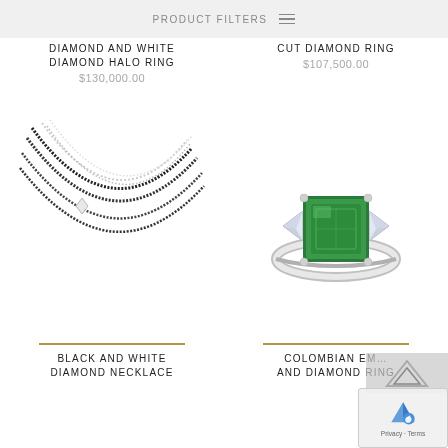PRODUCT FILTERS
DIAMOND AND WHITE DIAMOND HALO RING
$130,000.00
[Figure (photo): Layered black and white diamond necklaces displayed against white background]
CUT DIAMOND RING
$107,500.00
[Figure (photo): Colombian emerald and diamond ring with large square green emerald center stone flanked by trillion-cut diamonds in platinum setting]
BLACK AND WHITE DIAMOND NECKLACE
COLOMBIAN EMERALD AND DIAMOND RING